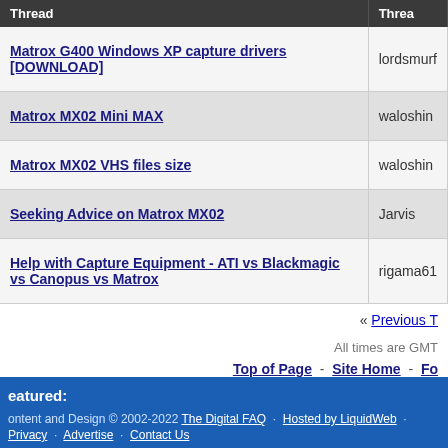| Thread | Thread |
| --- | --- |
| Matrox G400 Windows XP capture drivers [DOWNLOAD] | lordsmurf |
| Matrox MX02 Mini MAX | waloshin |
| Matrox MX02 VHS files size | waloshin |
| Seeking Advice on Matrox MX02 | Jarvis |
| Help with Capture Equipment - ATI vs Blackmagic vs Canopus vs Matrox | rigama61 |
« Previous T
All times are GMT
Top of Page  -  Site Home  -  Fo
eatured:
ontent and Design © 2002-2022 The Digital FAQ · Hosted by LiquidWeb ·
Privacy · Advertise · Contact Us